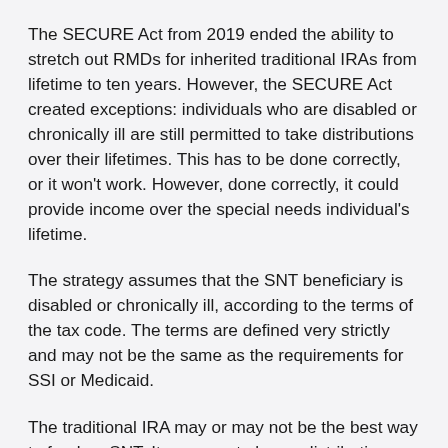The SECURE Act from 2019 ended the ability to stretch out RMDs for inherited traditional IRAs from lifetime to ten years. However, the SECURE Act created exceptions: individuals who are disabled or chronically ill are still permitted to take distributions over their lifetimes. This has to be done correctly, or it won't work. However, done correctly, it could provide income over the special needs individual's lifetime.
The strategy assumes that the SNT beneficiary is disabled or chronically ill, according to the terms of the tax code. The terms are defined very strictly and may not be the same as the requirements for SSI or Medicaid.
The traditional IRA may or may not be the best way to fund an SNT. It may create larger distributions than are permitted by the SNT or create large tax bills. Roth IRAs or life insurance may be the better options.